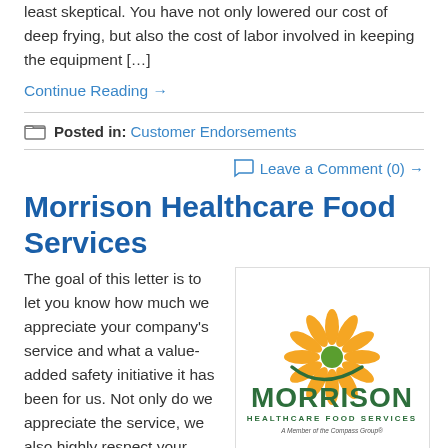least skeptical. You have not only lowered our cost of deep frying, but also the cost of labor involved in keeping the equipment […]
Continue Reading →
Posted in: Customer Endorsements
Leave a Comment (0) →
Morrison Healthcare Food Services
The goal of this letter is to let you know how much we appreciate your company's service and what a value-added safety initiative it has been for us. Not only do we appreciate the service, we also highly respect your staff. They are a stellar
[Figure (logo): Morrison Healthcare Food Services logo — sunflower graphic above the word MORRISON in large dark green letters, with 'HEALTHCARE FOOD SERVICES' and 'A Member of the Compass Group' below]